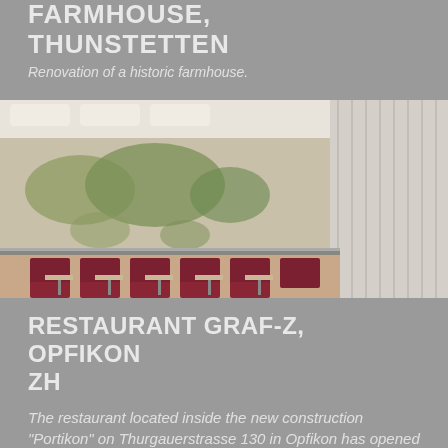FARMHOUSE, THUNSTETTEN
Renovation of a historic farmhouse.
[Figure (photo): Interior photograph of a modern restaurant/cafeteria with rows of dark red booth seats and light wooden tables, large world map mural on the back wall, bright ceiling lights, tall windows with vertical blinds on the right.]
RESTAURANT GRAF-Z, OPFIKON ZH
The restaurant located inside the new construction "Portikon" on Thurgauerstrasse 130 in Opfikon has opened its doors. In cooperation with Flying Penguin, Bandi has planned and realised the fittings of